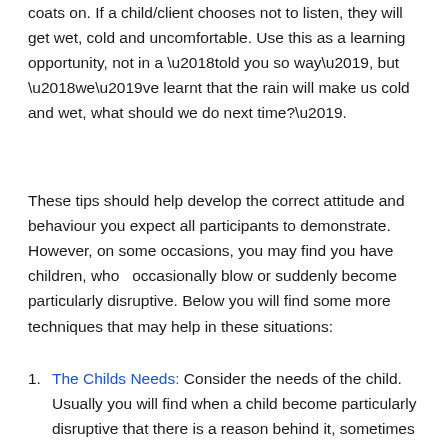coats on. If a child/client chooses not to listen, they will get wet, cold and uncomfortable. Use this as a learning opportunity, not in a ‘told you so way’, but ‘we’ve learnt that the rain will make us cold and wet, what should we do next time?’.
These tips should help develop the correct attitude and behaviour you expect all participants to demonstrate. However, on some occasions, you may find you have children, who  occasionally blow or suddenly become particularly disruptive. Below you will find some more techniques that may help in these situations:
The Childs Needs: Consider the needs of the child. Usually you will find when a child become particularly disruptive that there is a reason behind it, sometimes